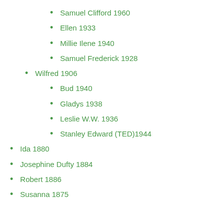Samuel Clifford 1960
Ellen 1933
Millie Ilene 1940
Samuel Frederick 1928
Wilfred 1906
Bud 1940
Gladys 1938
Leslie W.W. 1936
Stanley Edward  (TED)1944
Ida 1880
Josephine Dufty 1884
Robert 1886
Susanna 1875